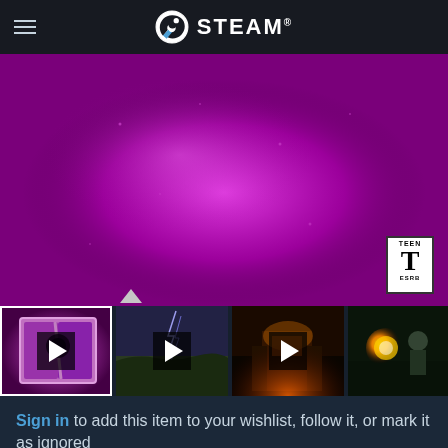STEAM
[Figure (screenshot): Steam game page showing a purple/magenta video thumbnail with ESRB Teen rating badge]
[Figure (screenshot): Row of four game video/screenshot thumbnails with play buttons]
Sign in to add this item to your wishlist, follow it, or mark it as ignored